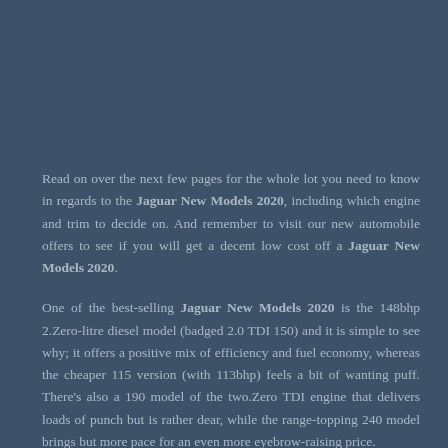Read on over the next few pages for the whole lot you need to know in regards to the Jaguar New Models 2020, including which engine and trim to decide on. And remember to visit our new automobile offers to see if you will get a decent low cost off a Jaguar New Models 2020.
One of the best-selling Jaguar New Models 2020 is the 148bhp 2.Zero-litre diesel model (badged 2.0 TDI 150) and it is simple to see why; it offers a positive mix of efficiency and fuel economy, whereas the cheaper 115 version (with 113bhp) feels a bit of wanting puff. There's also a 190 model of the two.Zero TDI engine that delivers loads of punch but is rather dear, while the range-topping 240 model brings but more pace for an even more eyebrow-raising price.